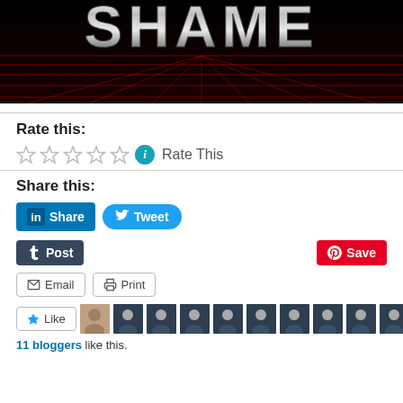[Figure (illustration): Banner image with black background, red grid lines, and large chrome/metallic text reading SHAME in bold futuristic style]
Rate this:
[Figure (other): Five empty star rating icons followed by an info icon and 'Rate This' text]
Share this:
[Figure (screenshot): Social sharing buttons: LinkedIn Share, Tweet, Tumblr Post, Pinterest Save, Email, Print]
[Figure (other): Like button and row of 11 blogger avatar thumbnails]
11 bloggers like this.